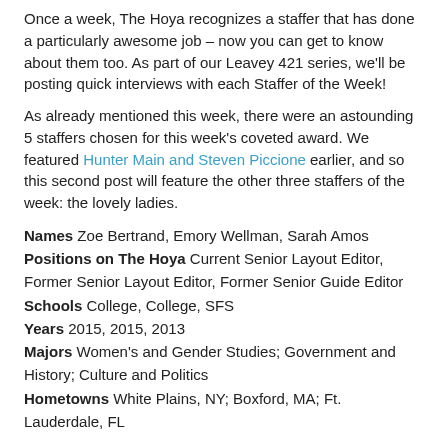Once a week, The Hoya recognizes a staffer that has done a particularly awesome job – now you can get to know about them too. As part of our Leavey 421 series, we'll be posting quick interviews with each Staffer of the Week!
As already mentioned this week, there were an astounding 5 staffers chosen for this week's coveted award. We featured Hunter Main and Steven Piccione earlier, and so this second post will feature the other three staffers of the week: the lovely ladies.
Names Zoe Bertrand, Emory Wellman, Sarah Amos
Positions on The Hoya Current Senior Layout Editor, Former Senior Layout Editor, Former Senior Guide Editor
Schools College, College, SFS
Years 2015, 2015, 2013
Majors Women's and Gender Studies; Government and History; Culture and Politics
Hometowns White Plains, NY; Boxford, MA; Ft. Lauderdale, FL
What did you do to earn staffer of the week?
Zoe: I used an Adobe program I had never used before to make a whole bunch of cool graphics for our GUSA election poll.
Emory: While the current Layout Editor Zoe was doing an inordinate